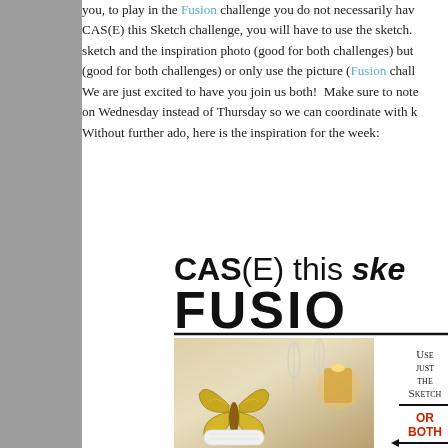you, to play in the Fusion challenge you do not necessarily have to CAS(E) this Sketch challenge, you will have to use the sketch. sketch and the inspiration photo (good for both challenges) but (good for both challenges) or only use the picture (Fusion chall We are just excited to have you join us both! Make sure to note on Wednesday instead of Thursday so we can coordinate with k Without further ado, here is the inspiration for the week:
[Figure (illustration): CAS(E) this Sketch Fusion banner with logo text showing 'CAS(E) this ske' and 'FUSIO' in large bold letters, followed by an inspiration photo showing a table setting with champagne glasses, a glittery gold butterfly decoration, and a candle. To the right is instructional text 'Use just the Sketch' with an arrow, 'OR BOTH' in red, an arrow, and 'Use just the'. A teal bordered box is partially visible on the right edge.]